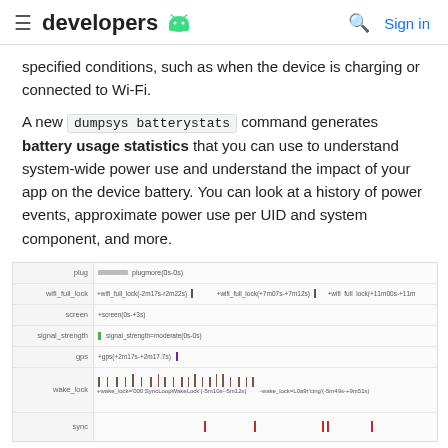developers
specified conditions, such as when the device is charging or connected to Wi-Fi.
A new dumpsys batterystats command generates battery usage statistics that you can use to understand system-wide power use and understand the impact of your app on the device battery. You can look at a history of power events, approximate power use per UID and system component, and more.
[Figure (screenshot): Battery stats timeline diagram showing rows for plug, wifi_full_lock, screen, signal_strength, gps, wake_lock, and sync events over time with labeled markers and tick marks.]